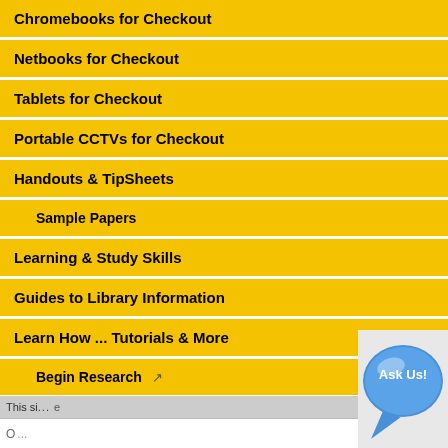Chromebooks for Checkout
Netbooks for Checkout
Tablets for Checkout
Portable CCTVs for Checkout
Handouts & TipSheets
Sample Papers
Learning & Study Skills
Guides to Library Information
Learn How ... Tutorials & More
Begin Research
Webinars!
How Do I...
More Library Tutorials
This si...
[Figure (illustration): Blue speech bubble with 'Ask Us!' text, a clickable help widget in the bottom right corner]